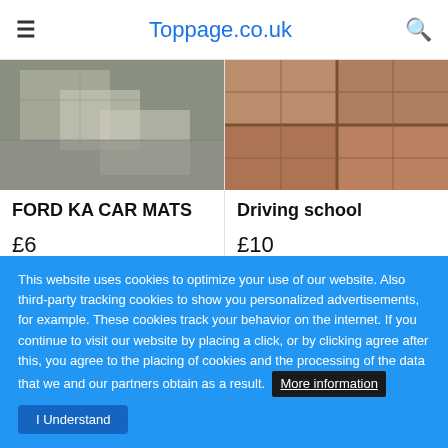Toppage.co.uk
[Figure (photo): Ford KA car mats photo]
FORD KA CAR MATS
£6
[Figure (photo): Driving school floor tiles photo]
Driving school
£10
This website uses cookies to optimize your use of our website. Also third-party tracking cookies to show you personalized advertisements, for example. These cookies track your behavior on the internet. If you continue to visit our website by placing a click, or by clicking agree after this, you agree to the placing of cookies and the processing of the data that we and our partners obtain as a result.  More information
I Understand